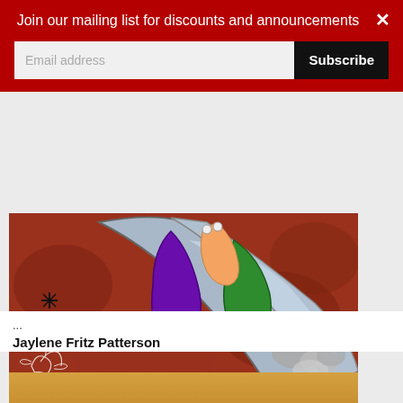[Figure (illustration): Colorful cartoon-style illustration showing a character surfing or riding on a large curved blade/sword shape. The figure has purple and green clothing elements, with gray smoke/cloud effects trailing behind. The background is a deep reddish-brown. A small white artistic signature/logo is visible in the lower left corner. A small sparkle/star symbol appears on the left side.]
...
Jaylene Fritz Patterson
Join our mailing list for discounts and announcements
Email address
Subscribe